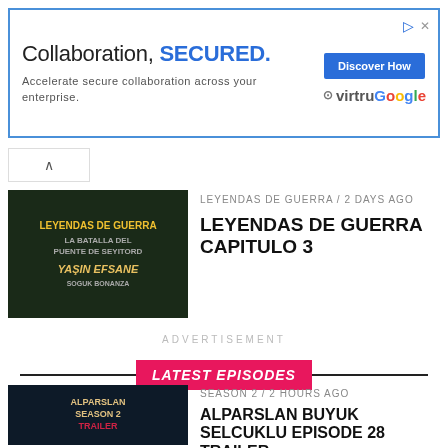[Figure (screenshot): Advertisement banner: Collaboration, SECURED. Accelerate secure collaboration across your enterprise. Discover How button. virtruGoogle logo.]
[Figure (photo): Thumbnail for Leyendas de Guerra episode with overlay text]
LEYENDAS DE GUERRA / 2 days ago
LEYENDAS DE GUERRA CAPITULO 3
ADVERTISEMENT
LATEST EPISODES
[Figure (photo): Thumbnail for Alparslan Season 2 Trailer]
SEASON 2 / 2 hours ago
ALPARSLAN BUYUK SELCUKLU EPISODE 28 TRAILER
[Figure (photo): Thumbnail for Alparslan Season 2 Episode 1]
ALPARSLAN BUYUK SELCUKLU / 2 weeks ago
ALPARSLAN BUYUK SELCUKLU SEASON 2 EPISODE 1 TRAILER